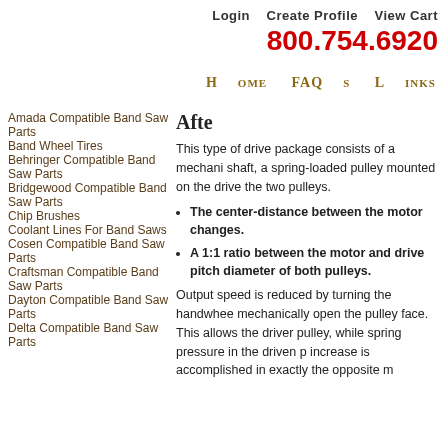Login   Create Profile   View Cart
800.754.6920
Home   FAQs   Links
Amada Compatible Band Saw Parts
Band Wheel Tires
Behringer Compatible Band Saw Parts
Bridgewood Compatible Band Saw Parts
Chip Brushes
Coolant Lines For Band Saws
Cosen Compatible Band Saw Parts
Craftsman Compatible Band Saw Parts
Dayton Compatible Band Saw Parts
Delta Compatible Band Saw Parts
Afte
This type of drive package consists of a mechani shaft, a spring-loaded pulley mounted on the drive the two pulleys.
The center-distance between the motor changes.
A 1:1 ratio between the motor and drive pitch diameter of both pulleys.
Output speed is reduced by turning the handwhee mechanically open the pulley face. This allows the driver pulley, while spring pressure in the driven p increase is accomplished in exactly the opposite m from rotating, the belt shifts to a wider band of the